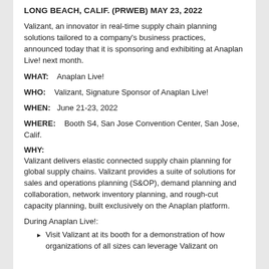LONG BEACH, CALIF. (PRWEB) MAY 23, 2022
Valizant, an innovator in real-time supply chain planning solutions tailored to a company's business practices, announced today that it is sponsoring and exhibiting at Anaplan Live! next month.
WHAT:    Anaplan Live!
WHO:    Valizant, Signature Sponsor of Anaplan Live!
WHEN:   June 21-23, 2022
WHERE:    Booth S4, San Jose Convention Center, San Jose, Calif.
WHY:
Valizant delivers elastic connected supply chain planning for global supply chains. Valizant provides a suite of solutions for sales and operations planning (S&OP), demand planning and collaboration, network inventory planning, and rough-cut capacity planning, built exclusively on the Anaplan platform.
During Anaplan Live!:
Visit Valizant at its booth for a demonstration of how organizations of all sizes can leverage Valizant on